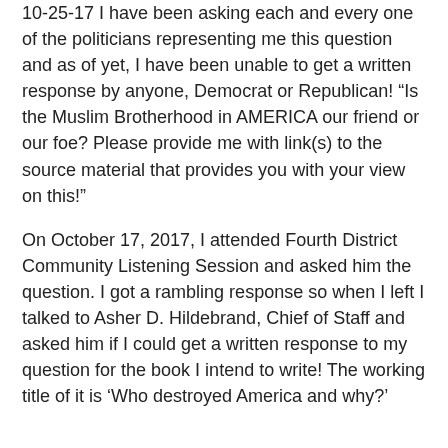10-25-17 I have been asking each and every one of the politicians representing me this question and as of yet, I have been unable to get a written response by anyone, Democrat or Republican! “Is the Muslim Brotherhood in AMERICA our friend or our foe? Please provide me with link(s) to the source material that provides you with your view on this!”
On October 17, 2017, I attended Fourth District Community Listening Session and asked him the question. I got a rambling response so when I left I talked to Asher D. Hildebrand, Chief of Staff and asked him if I could get a written response to my question for the book I intend to write! The working title of it is ‘Who destroyed America and why?’